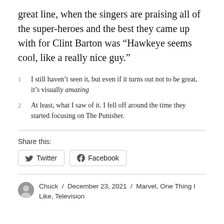great line, when the singers are praising all of the super-heroes and the best they came up with for Clint Barton was “Hawkeye seems cool, like a really nice guy.”
I still haven’t seen it, but even if it turns out not to be great, it’s visually amazing
At least, what I saw of it. I fell off around the time they started focusing on The Punisher.
Share this:
Twitter  Facebook
Chuck / December 23, 2021 / Marvel, One Thing I Like, Television